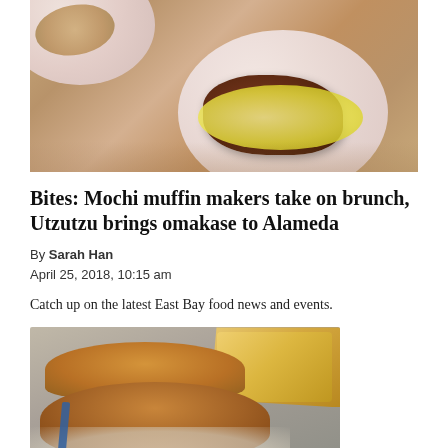[Figure (photo): Overhead view of two pink plates on a wooden table, one with a dessert item topped with sauce and nuts/crumble]
Bites: Mochi muffin makers take on brunch, Utzutzu brings omakase to Alameda
By Sarah Han
April 25, 2018, 10:15 am
Catch up on the latest East Bay food news and events.
[Figure (photo): A burger cut in half showing layers, served with french fries on a plate]